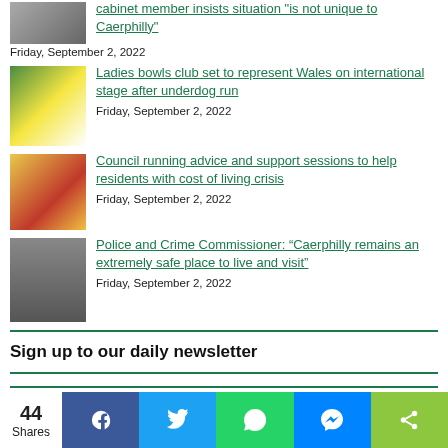cabinet member insists situation "is not unique to Caerphilly"
Friday, September 2, 2022
Ladies bowls club set to represent Wales on international stage after underdog run
Friday, September 2, 2022
Council running advice and support sessions to help residents with cost of living crisis
Friday, September 2, 2022
Police and Crime Commissioner: “Caerphilly remains an extremely safe place to live and visit”
Friday, September 2, 2022
Sign up to our daily newsletter
[Figure (infographic): Social share bar with Facebook, Twitter, WhatsApp, Messenger, and share icons. 44 Shares.]